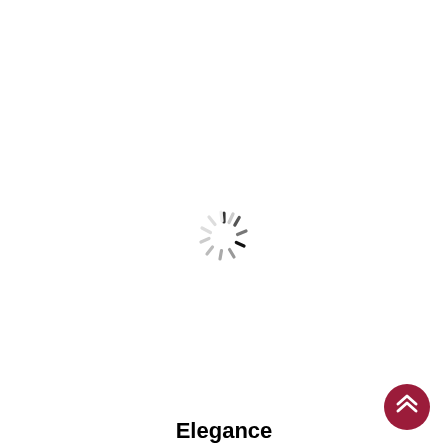[Figure (other): A loading spinner icon (circular spinner with dark and light spokes) centered on the page]
[Figure (other): A dark red/crimson circular button with a double-chevron (up arrow) icon, positioned in the bottom-right corner]
Elegance